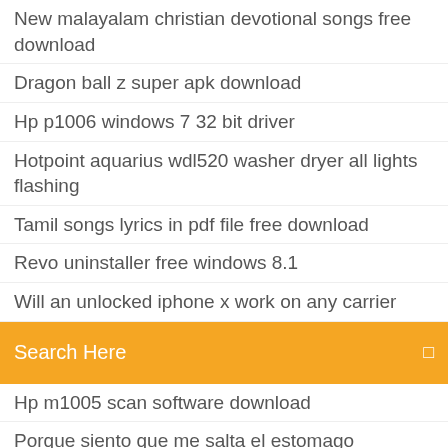New malayalam christian devotional songs free download
Dragon ball z super apk download
Hp p1006 windows 7 32 bit driver
Hotpoint aquarius wdl520 washer dryer all lights flashing
Tamil songs lyrics in pdf file free download
Revo uninstaller free windows 8.1
Will an unlocked iphone x work on any carrier
[Figure (screenshot): Orange search bar with text 'Search Here' and a small icon on the right]
Hp m1005 scan software download
Porque siento que me salta el estomago
Age of empire trial download
How to import contacts from iphone to sim card without jailbreak
Realtek® alc892 8-channel high definition audio codec driver
How to reset lost admin password windows 7
Best war game for pc 2019
Telecharger jeux gratuit pour pc windows 7 32 bit sans